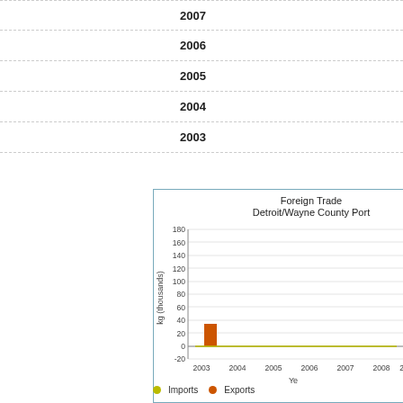2007
2006
2005
2004
2003
[Figure (bar-chart): Foreign Trade Detroit/Wayne County Port]
Imports  Exports